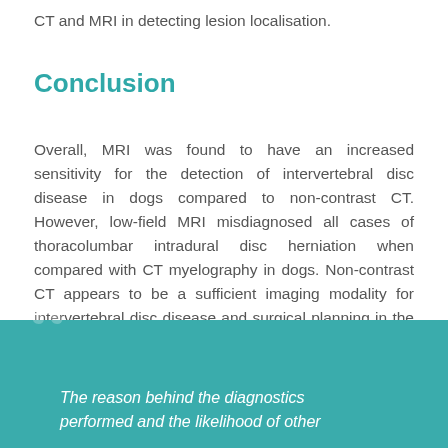CT and MRI in detecting lesion localisation.
Conclusion
Overall, MRI was found to have an increased sensitivity for the detection of intervertebral disc disease in dogs compared to non-contrast CT. However, low-field MRI misdiagnosed all cases of thoracolumbar intradural disc herniation when compared with CT myelography in dogs. Non-contrast CT appears to be a sufficient imaging modality for intervertebral disc disease and surgical planning in the majority of Dachshunds.
The reason behind the diagnostics performed and the likelihood of other